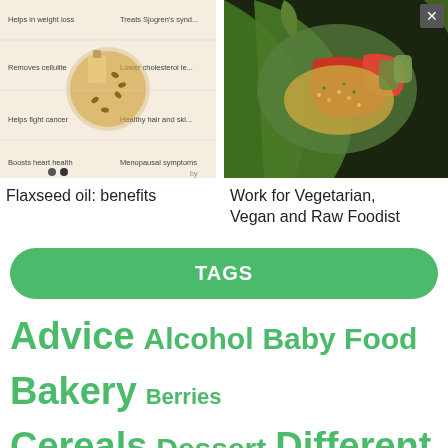[Figure (infographic): Flaxseed oil benefits infographic with text labels and oil bottle/seeds image]
Flaxseed oil: benefits
[Figure (photo): Photo of vegetarian/vegan lettuce wraps with vegetables and grain filling]
Work for Vegetarian, Vegan and Raw Foodist
TAGS
Advice Alcohol Baby Food Bakery Berries Cereals Dessert Different Dried-Fruits Drinks Eggs Fast Food Fish Fruits Garnish Gastroholiday Greens Honey How to cook How to Pick Interesting Jams Legumes Lifehack Main Course Meat